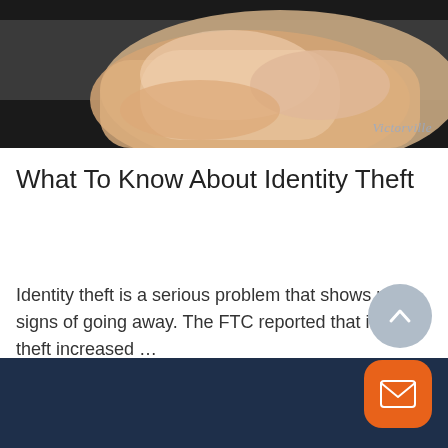[Figure (photo): Close-up photo of a hand holding currency/money, with a watermark reading 'Victorville' in the bottom right corner]
What To Know About Identity Theft
Identity theft is a serious problem that shows no signs of going away. The FTC reported that identity theft increased …
Read More
[Figure (illustration): Scroll-to-top button (up arrow in grey circle) and an email/mail button (envelope icon in orange rounded square), positioned in the bottom right corner over a dark navy footer bar]